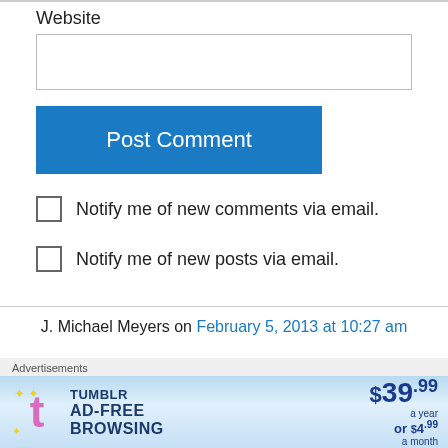Website
[Figure (screenshot): Empty website URL input field]
[Figure (screenshot): Post Comment button in blue]
Notify me of new comments via email.
Notify me of new posts via email.
J. Michael Meyers on February 5, 2013 at 10:27 am
Goo Gone works very well to remove the old
Advertisements
[Figure (screenshot): Tumblr Ad-Free Browsing advertisement banner showing $39.99 a year or $4.99 a month]